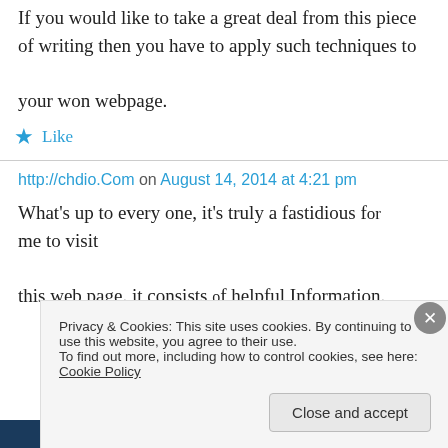If you would like to take a great deal from this piece of writing then you have to apply such techniques to your won webpage.
★ Like
http://chdio.Com on August 14, 2014 at 4:21 pm
What's up to every one, it's truly a fastidious for me to visit this web page. it consists of helpful Information.
Privacy & Cookies: This site uses cookies. By continuing to use this website, you agree to their use.
To find out more, including how to control cookies, see here: Cookie Policy
Close and accept